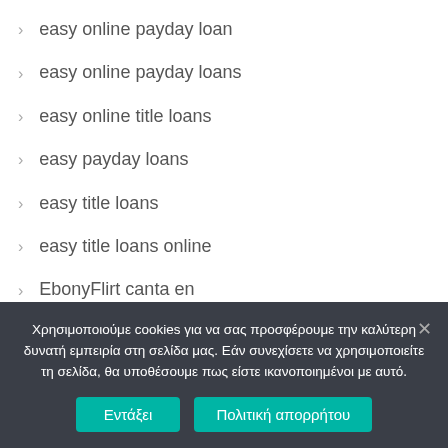easy online payday loan
easy online payday loans
easy online title loans
easy payday loans
easy title loans
easy title loans online
EbonyFlirt canta en
ebonyflirt dating
echat avis
Χρησιμοποιούμε cookies για να σας προσφέρουμε την καλύτερη δυνατή εμπειρία στη σελίδα μας. Εάν συνεχίσετε να χρησιμοποιείτε τη σελίδα, θα υποθέσουμε πως είστε ικανοποιημένοι με αυτό.
Εντάξει
Πολιτική απορρήτου